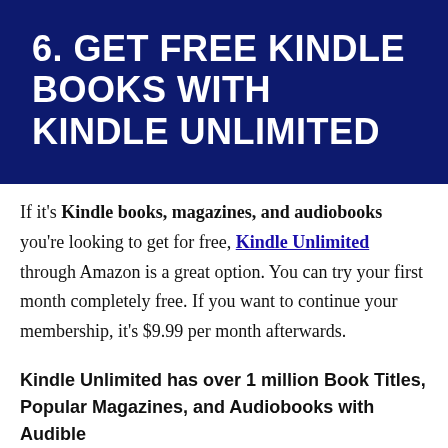6. GET FREE KINDLE BOOKS WITH KINDLE UNLIMITED
If it's Kindle books, magazines, and audiobooks you're looking to get for free, Kindle Unlimited through Amazon is a great option. You can try your first month completely free. If you want to continue your membership, it's $9.99 per month afterwards.
Kindle Unlimited has over 1 million Book Titles, Popular Magazines, and Audiobooks with Audible